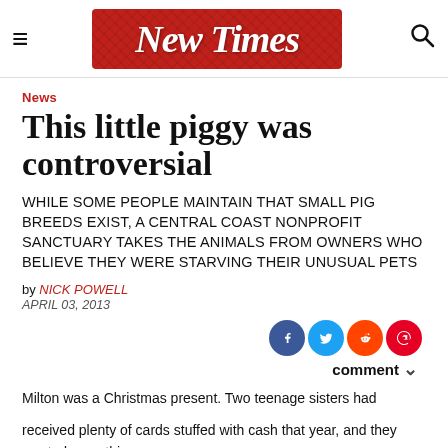New Times
News
This little piggy was controversial
WHILE SOME PEOPLE MAINTAIN THAT SMALL PIG BREEDS EXIST, A CENTRAL COAST NONPROFIT SANCTUARY TAKES THE ANIMALS FROM OWNERS WHO BELIEVE THEY WERE STARVING THEIR UNUSUAL PETS
by NICK POWELL
APRIL 03, 2013
Milton was a Christmas present. Two teenage sisters had received plenty of cards stuffed with cash that year, and they wanted something